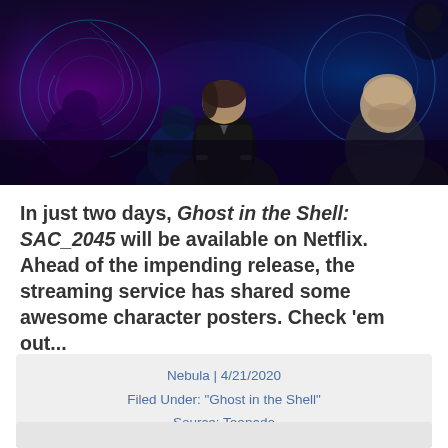[Figure (illustration): Promotional artwork for Ghost in the Shell: SAC_2045 on Netflix showing animated characters in dark blue/purple cyberpunk style. Central female character in black tactical gear with several other characters including a bald older man and a sniper.]
In just two days, Ghost in the Shell: SAC_2045 will be available on Netflix. Ahead of the impending release, the streaming service has shared some awesome character posters. Check 'em out...
Nebula | 4/21/2020
Filed Under: "Ghost in the Shell"
Source: Toonado